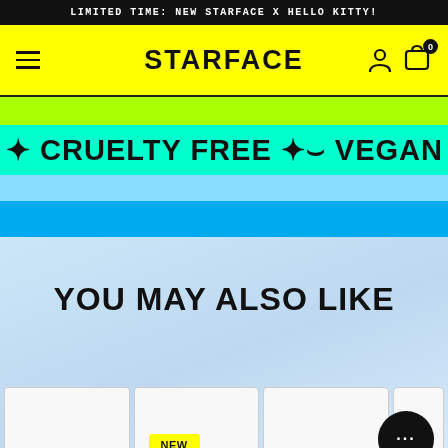LIMITED TIME: NEW STARFACE X HELLO KITTY!
STARFACE
CRUELTY FREE ✦ VEGAN
YOU MAY ALSO LIKE
NEW
NEW